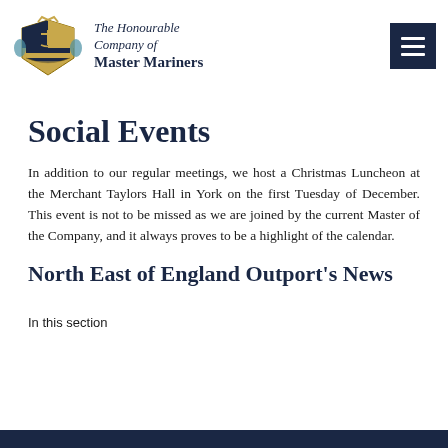The Honourable Company of Master Mariners
Social Events
In addition to our regular meetings, we host a Christmas Luncheon at the Merchant Taylors Hall in York on the first Tuesday of December. This event is not to be missed as we are joined by the current Master of the Company, and it always proves to be a highlight of the calendar.
North East of England Outport's News
In this section